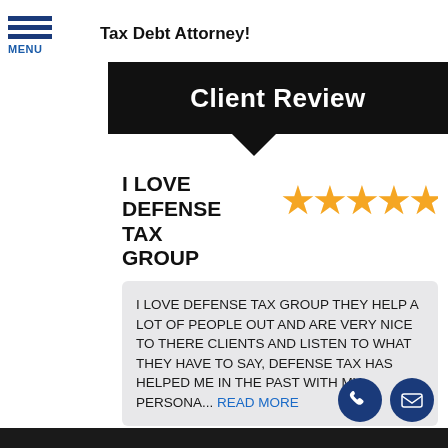Tax Debt Attorney!
Client Review
I LOVE DEFENSE TAX GROUP
[Figure (other): Five golden star rating icons]
I LOVE DEFENSE TAX GROUP THEY HELP A LOT OF PEOPLE OUT AND ARE VERY NICE TO THERE CLIENTS AND LISTEN TO WHAT THEY HAVE TO SAY, DEFENSE TAX HAS HELPED ME IN THE PAST WITH MY PERSONA... read more
- Maria Ligues
[Figure (other): Phone icon circle button and email icon circle button]